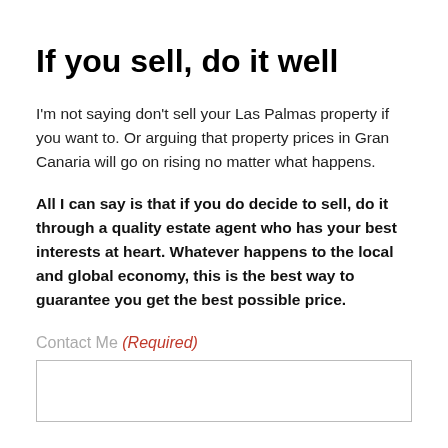If you sell, do it well
I'm not saying don't sell your Las Palmas property if you want to. Or arguing that property prices in Gran Canaria will go on rising no matter what happens.
All I can say is that if you do decide to sell, do it through a quality estate agent who has your best interests at heart. Whatever happens to the local and global economy, this is the best way to guarantee you get the best possible price.
Contact Me (Required)
[input field]